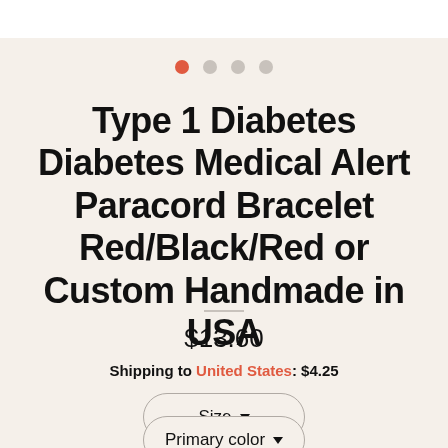[Figure (other): Pagination dots: one active red dot followed by three inactive grey dots]
Type 1 Diabetes Diabetes Medical Alert Paracord Bracelet Red/Black/Red or Custom Handmade in USA
$13.60
Shipping to United States: $4.25
Size ▼
Primary color ▼